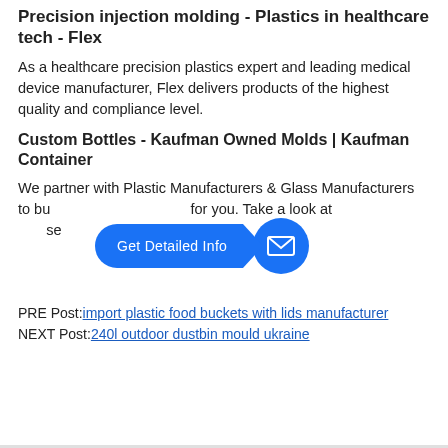Precision injection molding - Plastics in healthcare tech - Flex
As a healthcare precision plastics expert and leading medical device manufacturer, Flex delivers products of the highest quality and compliance level.
Custom Bottles - Kaufman Owned Molds | Kaufman Container
We partner with Plastic Manufacturers & Glass Manufacturers to build Custom Packages for you. Take a look at the bottles and select the designs you like.
[Figure (other): Blue 'Get Detailed Info' button with arrow shape and blue circular mail icon overlay]
PRE Post: import plastic food buckets with lids manufacturer
NEXT Post: 240l outdoor dustbin mould ukraine